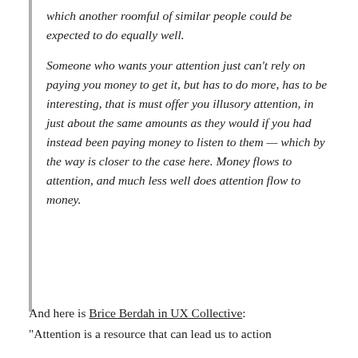which another roomful of similar people could be expected to do equally well.

Someone who wants your attention just can't rely on paying you money to get it, but has to do more, has to be interesting, that is must offer you illusory attention, in just about the same amounts as they would if you had instead been paying money to listen to them — which by the way is closer to the case here. Money flows to attention, and much less well does attention flow to money.
And here is Brice Berdah in UX Collective:
"Attention is a resource that can lead us to action